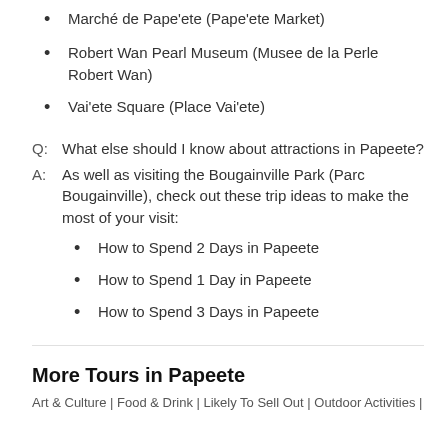Marché de Pape'ete (Pape'ete Market)
Robert Wan Pearl Museum (Musee de la Perle Robert Wan)
Vai'ete Square (Place Vai'ete)
Q: What else should I know about attractions in Papeete?
A: As well as visiting the Bougainville Park (Parc Bougainville), check out these trip ideas to make the most of your visit:
How to Spend 2 Days in Papeete
How to Spend 1 Day in Papeete
How to Spend 3 Days in Papeete
More Tours in Papeete
Art & Culture | Food & Drink | Likely To Sell Out | Outdoor Activities |